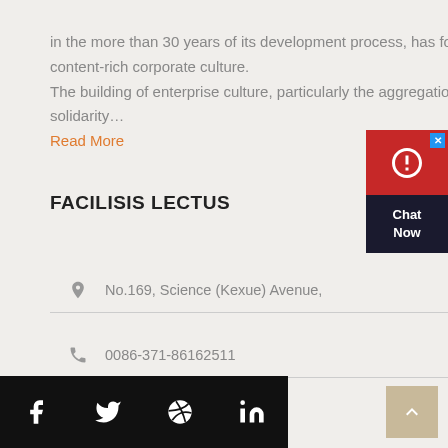in the more than 30 years of its development process, has formed a unique and content-rich corporate culture. The building of enterprise culture, particularly the aggregation of cohesion and solidarity…
Read More
FACILISIS LECTUS
No.169, Science (Kexue) Avenue,
0086-371-86162511
bestforyouzh@yahoo.com
[Figure (infographic): Social media icons: Facebook, Twitter, Dribbble, LinkedIn in black square buttons]
[Figure (infographic): Chat Now widget with red top and dark bottom sections]
[Figure (infographic): Back to top button with up arrow]